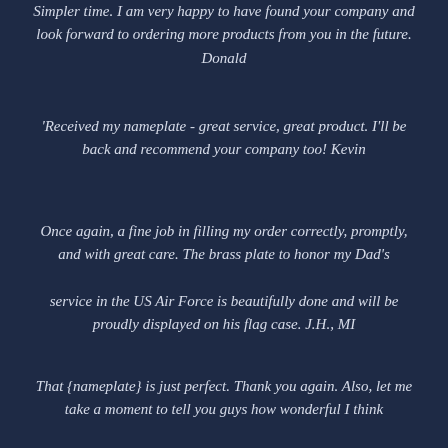Simpler time.  I am very happy to have found your company and look forward to ordering more products from you in the future.  Donald
'Received my nameplate  - great service, great product.  I'll be back and recommend your company too!  Kevin
Once again, a fine job in filling my order correctly, promptly, and with great care.  The brass plate to honor my Dad's service in the US Air Force is beautifully done and will be proudly displayed on his flag case.  J.H., MI
That {nameplate} is just perfect.  Thank you again.  Also, let me take a moment to tell you guys how wonderful I think